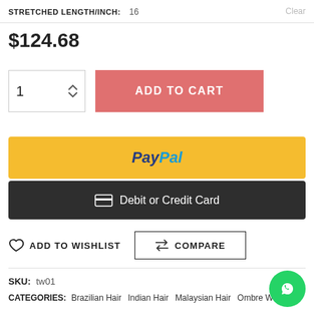STRETCHED LENGTH/INCH: 16  Clear
$124.68
1  ADD TO CART
[Figure (other): PayPal payment button (yellow background with PayPal logo)]
Debit or Credit Card
ADD TO WISHLIST  COMPARE
SKU: tw01
CATEGORIES: Brazilian Hair  Indian Hair  Malaysian Hair  Ombre Wig